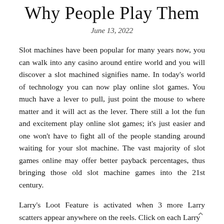Why People Play Them
June 13, 2022
Slot machines have been popular for many years now, you can walk into any casino around entire world and you will discover a slot machined signifies name. In today’s world of technology you can now play online slot games. You much have a lever to pull, just point the mouse to where matter and it will act as the lever. There still a lot the fun and excitement play online slot games; it’s just easier and one won’t have to fight all of the people standing around waiting for your slot machine. The vast majority of slot games online may offer better payback percentages, thus bringing those old slot machine games into the 21st century.
Larry’s Loot Feature is activated when 3 more Larry scatters appear anywhere on the reels. Click on each Larry